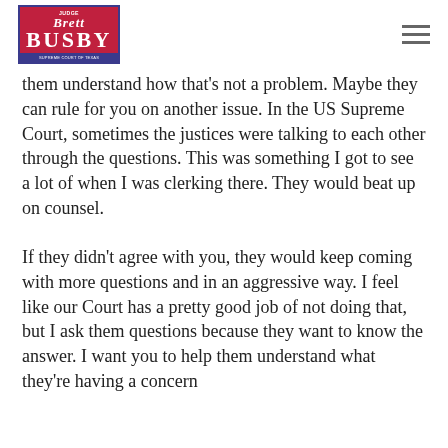[Figure (logo): Justice Brett Busby campaign logo — red background with blue border, white text reading JUDGE BRETT BUSBY, blue bottom bar with tagline]
them understand how that's not a problem. Maybe they can rule for you on another issue. In the US Supreme Court, sometimes the justices were talking to each other through the questions. This was something I got to see a lot of when I was clerking there. They would beat up on counsel.
If they didn't agree with you, they would keep coming with more questions and in an aggressive way. I feel like our Court has a pretty good job of not doing that, but I ask them questions because they want to know the answer. I want you to help them understand what they're having a concern